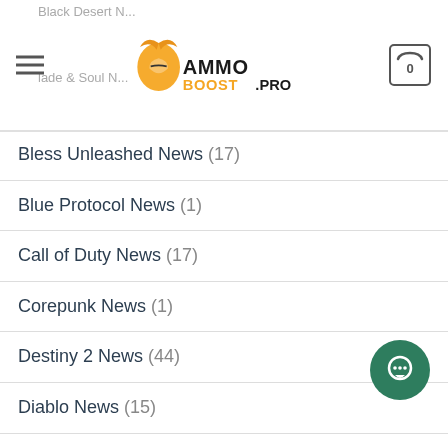MMOBOOST.PRO — navigation header with logo and cart
Bless Unleashed News (17)
Blue Protocol News (1)
Call of Duty News (17)
Corepunk News (1)
Destiny 2 News (44)
Diablo News (15)
Division 2 News (29)
Elden Ring News (2)
Elder Scrolls Online News (79)
Elyon News (15)